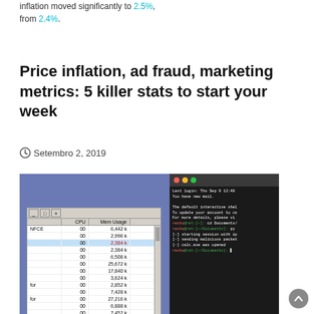inflation moved significantly to 2.5%, from 2.4%.
Price inflation, ad fraud, marketing metrics: 5 killer stats to start your week
Setembro 2, 2019
[Figure (screenshot): Screenshot showing a Windows process manager window with CPU and memory usage data on the left (blue desktop background), and a macOS terminal window on the right showing login messages and command-line activity related to sending malicious packets and opening calc.exe]